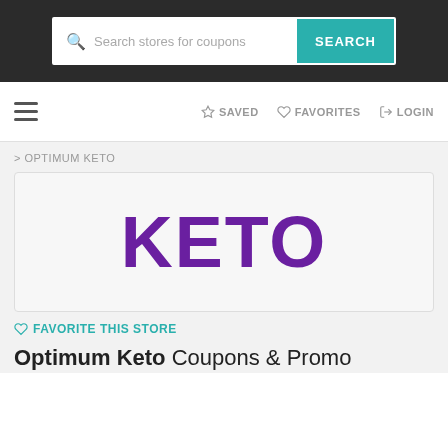Search stores for coupons SEARCH
≡  SAVED  FAVORITES  LOGIN
> OPTIMUM KETO
[Figure (logo): Optimum Keto store logo showing the word KETO in large bold purple text]
♡ FAVORITE THIS STORE
Optimum Keto Coupons & Promo